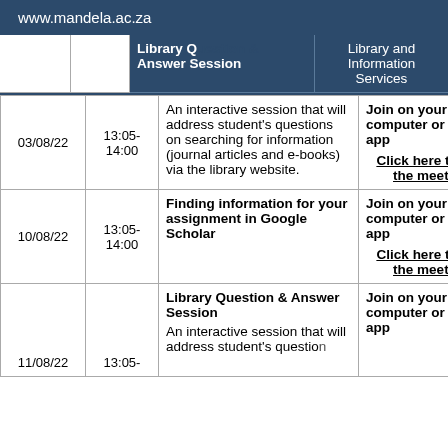www.mandela.ac.za
| Date | Time | Description | Join |
| --- | --- | --- | --- |
| 03/08/22 | 13:05-14:00 | Library Question & Answer Session - An interactive session that will address student's questions on searching for information (journal articles and e-books) via the library website. | Join on your computer or mobile app / Click here to join the meeting |
| 10/08/22 | 13:05-14:00 | Finding information for your assignment in Google Scholar | Join on your computer or mobile app / Click here to join the meeting |
| 11/08/22 | 13:05- | Library Question & Answer Session - An interactive session that will address... | Join on your computer or mobile app |